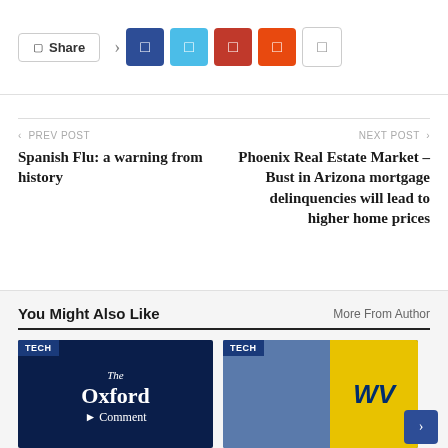[Figure (screenshot): Social share bar with Share button, Facebook (dark blue), Twitter (light blue), Pinterest (dark red), Reddit (orange), and a more options (grey outline) button]
PREV POST
Spanish Flu: a warning from history
NEXT POST
Phoenix Real Estate Market – Bust in Arizona mortgage delinquencies will lead to higher home prices
You Might Also Like
More From Author
[Figure (screenshot): Card with dark blue background showing 'The Oxford Comment' text in white, with a TECH tag in top-left corner]
[Figure (screenshot): Card showing WVU football players in helmets with WVU yellow logo on right side, with a TECH tag in top-left corner]